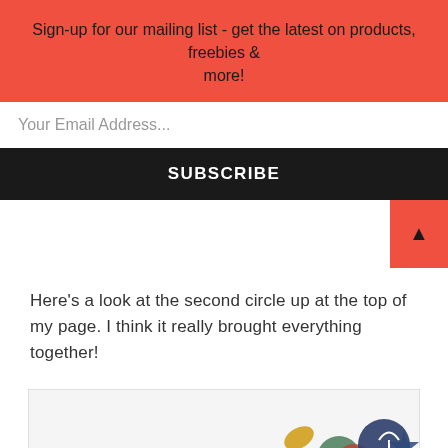Sign-up for our mailing list - get the latest on products, freebies & more!
Your Email Address...
SUBSCRIBE
Here's a look at the second circle up at the top of my page. I think it really brought everything together!
[Figure (photo): Scrapbooking embellishments and craft elements including colorful decorative pieces, a leaf, star, umbrella, apple, and other craft items arranged on a light background]